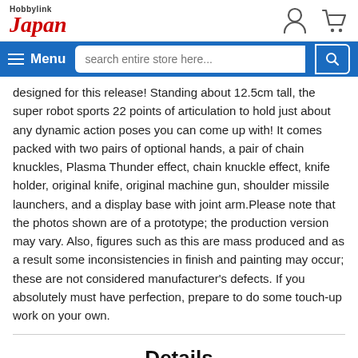HobbyLink Japan — site header with logo, person icon, cart icon
Menu | search entire store here...
designed for this release! Standing about 12.5cm tall, the super robot sports 22 points of articulation to hold just about any dynamic action poses you can come up with! It comes packed with two pairs of optional hands, a pair of chain knuckles, Plasma Thunder effect, chain knuckle effect, knife holder, original knife, original machine gun, shoulder missile launchers, and a display base with joint arm.Please note that the photos shown are of a prototype; the production version may vary. Also, figures such as this are mass produced and as a result some inconsistencies in finish and painting may occur; these are not considered manufacturer's defects. If you absolutely must have perfection, prepare to do some touch-up work on your own.
Details
Code: KYD010094